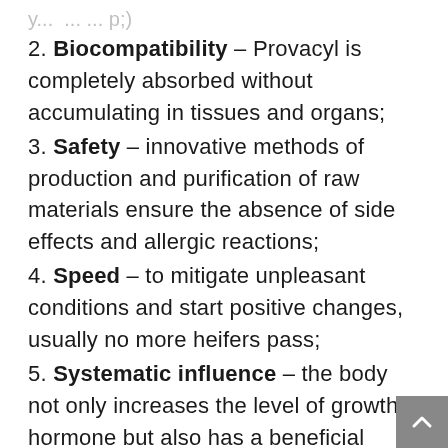2. Biocompatibility – Provacyl is completely absorbed without accumulating in tissues and organs;
3. Safety – innovative methods of production and purification of raw materials ensure the absence of side effects and allergic reactions;
4. Speed – to mitigate unpleasant conditions and start positive changes, usually no more heifers pass;
5. Systematic influence – the body not only increases the level of growth hormone but also has a beneficial effect on mental reactions, endurance, resistance to high-intensity physical activity.